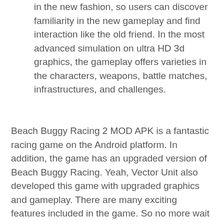in the new fashion, so users can discover familiarity in the new gameplay and find interaction like the old friend. In the most advanced simulation on ultra HD 3d graphics, the gameplay offers varieties in the characters, weapons, battle matches, infrastructures, and challenges.
Beach Buggy Racing 2 MOD APK is a fantastic racing game on the Android platform. In addition, the game has an upgraded version of Beach Buggy Racing. Yeah, Vector Unit also developed this game with upgraded graphics and gameplay. There are many exciting features included in the game. So no more wait to download this game on your Android device. After the game launch to Google Play Store,